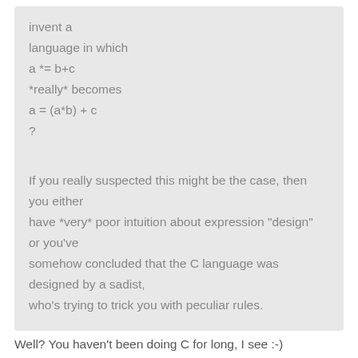invent a
language in which
a *= b+c
*really* becomes
a = (a*b) + c
?

If you really suspected this might be the case, then you either
have *very* poor intuition about expression "design" or you've
somehow concluded that the C language was designed by a sadist,
who's trying to trick you with peculiar rules.
Well? You haven't been doing C for long, I see :-)